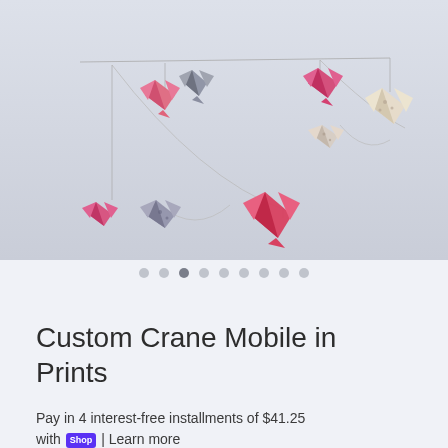[Figure (photo): Origami crane mobile hanging display with multiple colorful paper cranes (pink, gray, patterned) suspended from curved wire arcs against a light gray background]
• • ● • • • • • •  (image carousel dots, third dot active)
Custom Crane Mobile in Prints
Pay in 4 interest-free installments of $41.25 with Shop Pay | Learn more